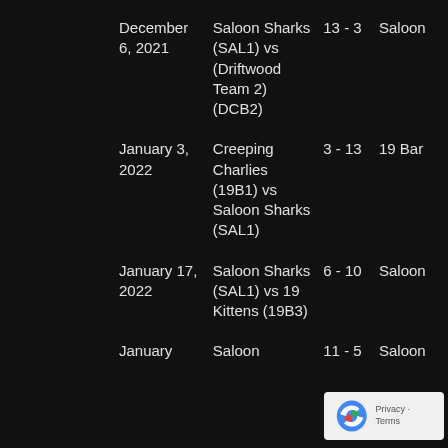| Date | Match | Score | Venue |
| --- | --- | --- | --- |
| December 6, 2021 | Saloon Sharks (SAL1) vs (Driftwood Team 2) (DCB2) | 13 - 3 | Saloon |
| January 3, 2022 | Creeping Charlies (19B1) vs Saloon Sharks (SAL1) | 3 - 13 | 19 Bar |
| January 17, 2022 | Saloon Sharks (SAL1) vs 19 Kittens (19B3) | 6 - 10 | Saloon |
| January | Saloon | 11 - 5 | Saloon |